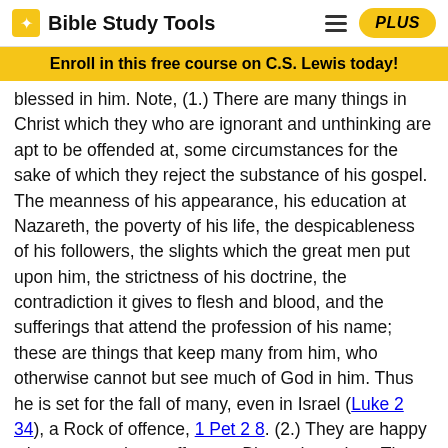Bible Study Tools
Enroll in this free course on C.S. Lewis today!
blessed in him. Note, (1.) There are many things in Christ which they who are ignorant and unthinking are apt to be offended at, some circumstances for the sake of which they reject the substance of his gospel. The meanness of his appearance, his education at Nazareth, the poverty of his life, the despicableness of his followers, the slights which the great men put upon him, the strictness of his doctrine, the contradiction it gives to flesh and blood, and the sufferings that attend the profession of his name; these are things that keep many from him, who otherwise cannot but see much of God in him. Thus he is set for the fall of many, even in Israel (Luke 2 34), a Rock of offence, 1 Pet 2 8. (2.) They are happy who get over these offences. Blessed are they. The expression intimates, that it is a difficult